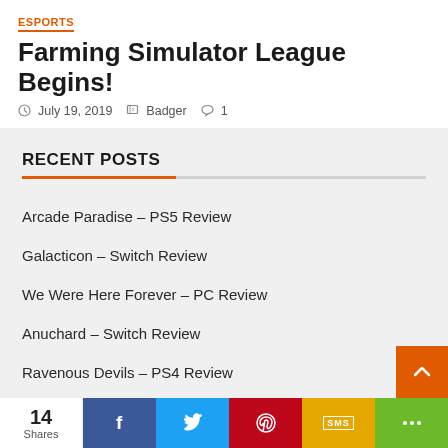ESPORTS
Farming Simulator League Begins!
July 19, 2019   Badger   1
RECENT POSTS
Arcade Paradise – PS5 Review
Galacticon – Switch Review
We Were Here Forever – PC Review
Anuchard – Switch Review
Ravenous Devils – PS4 Review
14 Shares